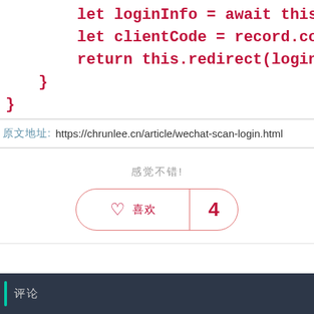let loginInfo = await this.sessi
    let clientCode = record.code;
    return this.redirect(loginInfo.r
  }
}
原文地址: https://chrunlee.cn/article/wechat-scan-login.html
感觉不错!
[Figure (other): Like button with heart icon and '喜欢' text on left, count '4' on right, pill-shaped border in red/pink]
评论